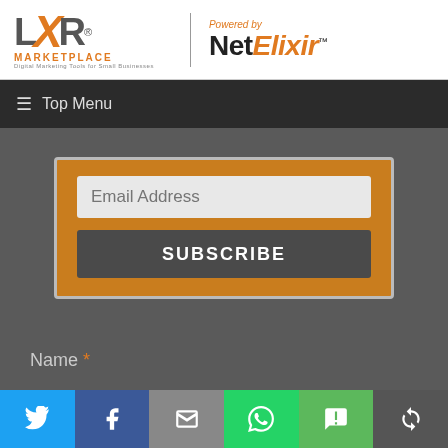[Figure (logo): LXR Marketplace logo with orange X and text 'Digital Marketing Tools for Small Businesses', alongside 'Powered by NetElixir' logo]
≡ Top Menu
[Figure (screenshot): Orange subscribe card with Email Address input field and SUBSCRIBE button on dark gray background]
Name *
Email *
[Figure (infographic): Social sharing bar with Twitter, Facebook, Email, WhatsApp, SMS, and share icons]